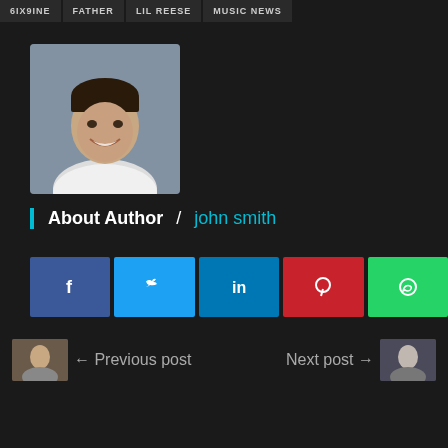6IX9INE | FATHER | LIL REESE | MUSIC NEWS
[Figure (photo): Headshot of author John Smith, a man smiling in a white shirt against a blurred background.]
About Author / john smith
[Figure (infographic): Social sharing buttons: Facebook (blue), Twitter (light blue), LinkedIn (dark blue), Pinterest (red), WhatsApp (green)]
Previous post
Next post